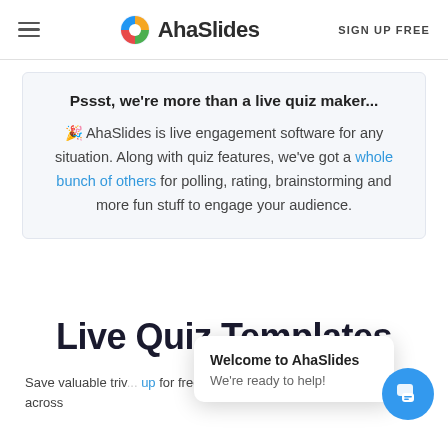AhaSlides — SIGN UP FREE
Pssst, we're more than a live quiz maker... 🎉 AhaSlides is live engagement software for any situation. Along with quiz features, we've got a whole bunch of others for polling, rating, brainstorming and more fun stuff to engage your audience.
Live Quiz Templates
Save valuable triv... up for free, instant access to 250+ questions across
Welcome to AhaSlides — We're ready to help!